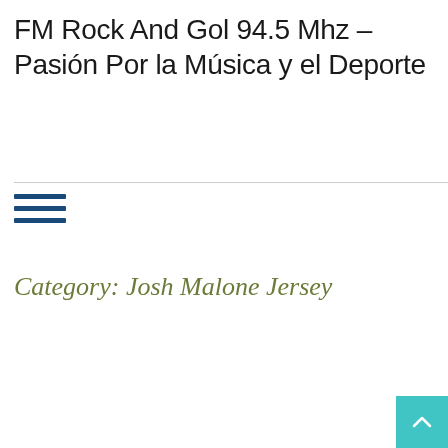FM Rock And Gol 94.5 Mhz – Pasión Por la Música y el Deporte
Category: Josh Malone Jersey